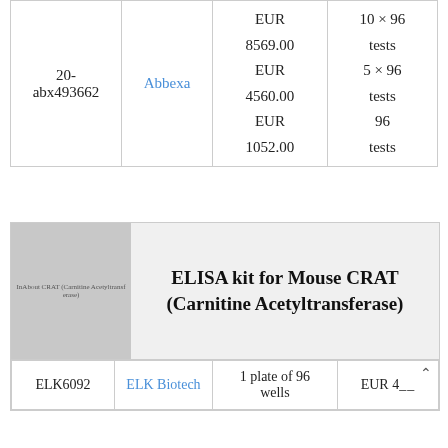| ID | Supplier | Price | Size |
| --- | --- | --- | --- |
| 20-abx493662 | Abbexa | EUR 8569.00
EUR 4560.00
EUR 1052.00 | 10 × 96 tests
5 × 96 tests
96 tests |
[Figure (photo): Product image placeholder for ELISA kit for Mouse CRAT (Carnitine Acetyltransferase)]
ELISA kit for Mouse CRAT (Carnitine Acetyltransferase)
| ID | Supplier | Size | Price |
| --- | --- | --- | --- |
| ELK6092 | ELK Biotech | 1 plate of 96 wells | EUR 4__ |